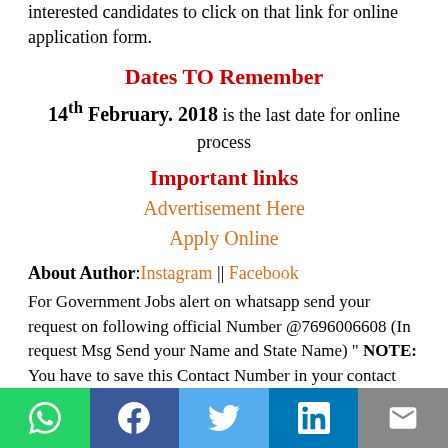interested candidates to click on that link for online application form.
Dates TO Remember
14th February. 2018 is the last date for online process
Important links
Advertisement Here
Apply Online
About Author: Instagram || Facebook
For Government Jobs alert on whatsapp send your request on following official Number @7696006608 (In request Msg Send your Name and State Name) " NOTE: You have to save this Contact Number in your contact list to get important Govt job alerts on Whatsapp.